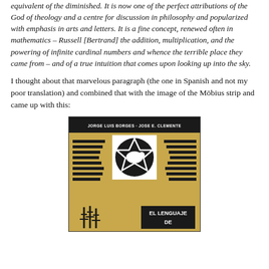equivalent of the diminished. It is now one of the perfect attributions of the God of theology and a centre for discussion in philosophy and popularized with emphasis in arts and letters. It is a fine concept, renewed often in mathematics – Russell [Bertrand] the addition, multiplication, and the powering of infinite cardinal numbers and whence the terrible place they came from – and of a true intuition that comes upon looking up into the sky.
I thought about that marvelous paragraph (the one in Spanish and not my poor translation) and combined that with the image of the Möbius strip and came up with this:
[Figure (photo): Book cover of 'El Lenguaje de...' by Jorge Luis Borges and Jose E. Clemente. Tan/gold background with black horizontal stripes on left and right sides, a central white square containing a black circle with a white bird/dove silhouette inside an octagonal star pattern, stylized black figures at bottom left, and a black rectangle with white text 'EL LENGUAJE DE' at bottom right.]